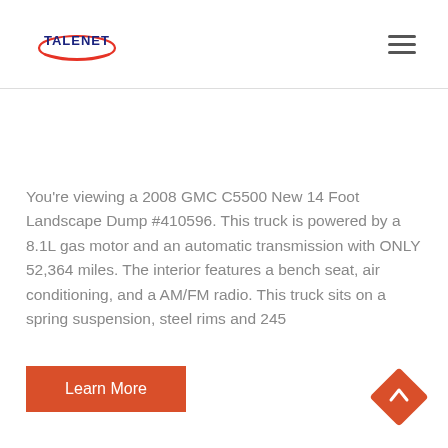TALENET logo and navigation menu
You're viewing a 2008 GMC C5500 New 14 Foot Landscape Dump #410596. This truck is powered by a 8.1L gas motor and an automatic transmission with ONLY 52,364 miles. The interior features a bench seat, air conditioning, and a AM/FM radio. This truck sits on a spring suspension, steel rims and 245
Learn More